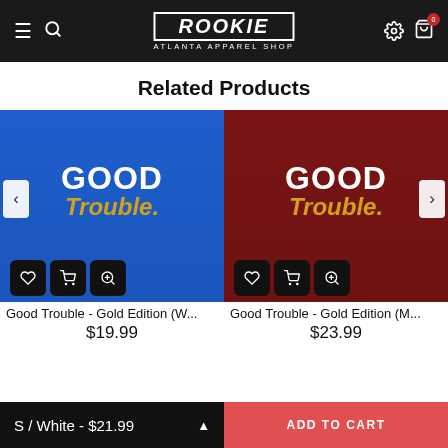ROOKIE ATLANTA APPAREL SHOP
Related Products
[Figure (photo): Blue t-shirt with 'GOOD Trouble.' text worn by a woman, product card with action buttons]
Good Trouble - Gold Edition (W...
$19.99
[Figure (photo): Red long-sleeve shirt with 'GOOD Trouble.' text worn by a man, product card with action buttons]
Good Trouble - Gold Edition (M...
$23.99
S / White - $21.99  |  ADD TO CART